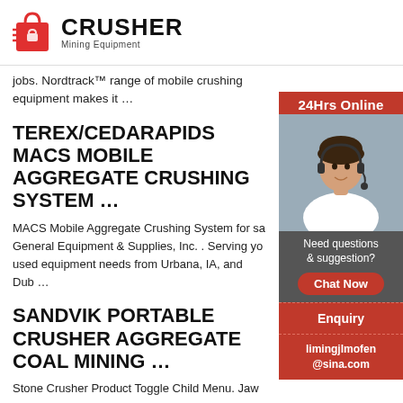CRUSHER Mining Equipment
jobs. Nordtrack™ range of mobile crushing equipment makes it …
TEREX/CEDARAPIDS MACS MOBILE AGGREGATE CRUSHING SYSTEM …
MACS Mobile Aggregate Crushing System for sa General Equipment & Supplies, Inc. . Serving yo used equipment needs from Urbana, IA, and Dub …
SANDVIK PORTABLE CRUSHER AGGREGATE COAL MINING …
Stone Crusher Product Toggle Child Menu. Jaw
[Figure (infographic): Right sidebar with red background showing '24Hrs Online' banner, photo of woman with headset, 'Need questions & suggestion?' text, 'Chat Now' button, 'Enquiry' section, and 'limingjlmofen@sina.com' email]